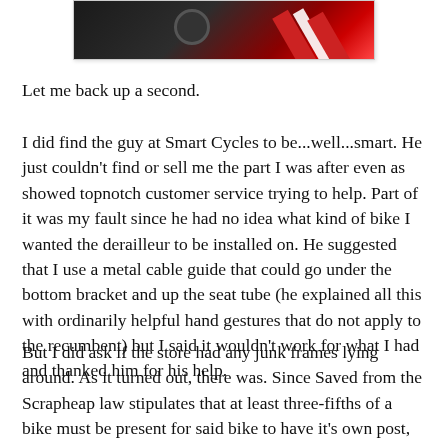[Figure (photo): Partial photo at top of page showing a dark background with red and white diagonal stripes, likely a jersey or clothing item]
Let me back up a second.
I did find the guy at Smart Cycles to be...well...smart. He just couldn't find or sell me the part I was after even as showed topnotch customer service trying to help. Part of it was my fault since he had no idea what kind of bike I wanted the derailleur to be installed on. He suggested that I use a metal cable guide that could go under the bottom bracket and up the seat tube (he explained all this with ordinarily helpful hand gestures that do not apply to the recumbent) but I said it wouldn't work for what I had and thanked him for his help.
But I did ask if the store had any junk frames lying around. As it turned out, there was. Since Saved from the Scrapheap law stipulates that at least three-fifths of a bike must be present for said bike to have it's own post, this whatever-it-was with a frozen crankset just became a nice afternoon diversion. Stripping a bike to the last hex bolt is good for the soul. Can't believe nobody ever wrote one of those 'Chicken Soup' books about that.